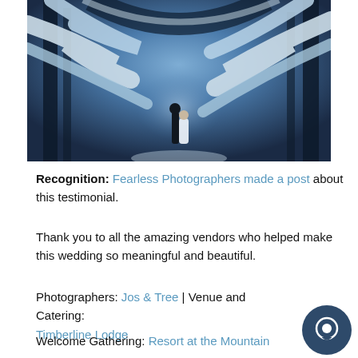[Figure (photo): Winter wedding photo: bride and groom standing in a snowy forest framed by snow-covered tree branches, blue-toned dramatic scene]
Recognition: Fearless Photographers made a post about this testimonial.
Thank you to all the amazing vendors who helped make this wedding so meaningful and beautiful.
Photographers: Jos & Tree | Venue and Catering: Timberline Lodge
Welcome Gathering: Resort at the Mountain
Dance To Joy Wedding Studio, Flowers: Flowers in Flight